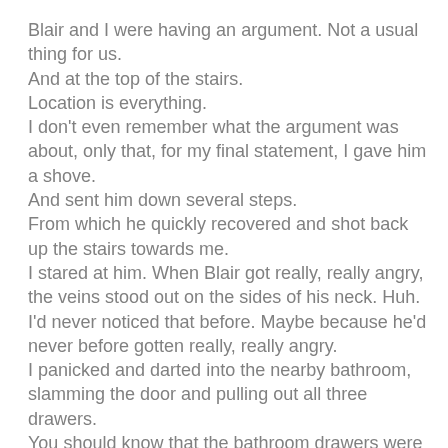Blair and I were having an argument. Not a usual thing for us.
And at the top of the stairs.
Location is everything.
I don't even remember what the argument was about, only that, for my final statement, I gave him a shove.
And sent him down several steps.
From which he quickly recovered and shot back up the stairs towards me.
I stared at him. When Blair got really, really angry, the veins stood out on the sides of his neck. Huh. I'd never noticed that before. Maybe because he'd never before gotten really, really angry.
I panicked and darted into the nearby bathroom, slamming the door and pulling out all three drawers.
You should know that the bathroom drawers were right next to the door and provided excellent barriers when one wanted to be left alone.
Usually, they worked.
Today, however, Blair was angry enough that he got a butter knife from the kitchen and began working at the drawers